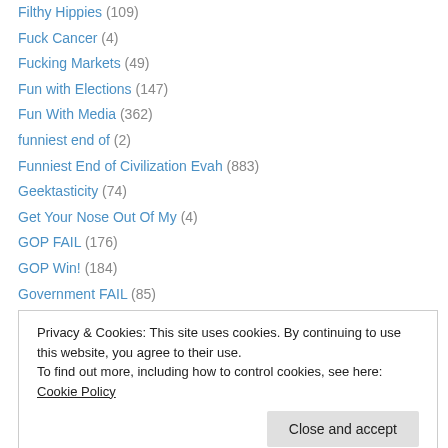Filthy Hippies (109)
Fuck Cancer (4)
Fucking Markets (49)
Fun with Elections (147)
Fun With Media (362)
funniest end of (2)
Funniest End of Civilization Evah (883)
Geektasticity (74)
Get Your Nose Out Of My (4)
GOP FAIL (176)
GOP Win! (184)
Government FAIL (85)
Green Goofs (85)
Privacy & Cookies: This site uses cookies. By continuing to use this website, you agree to their use. To find out more, including how to control cookies, see here: Cookie Policy
Close and accept